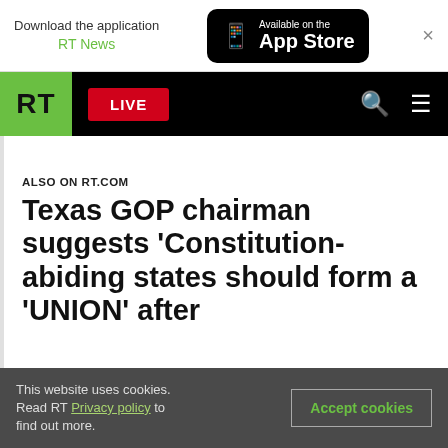Download the application RT News — Available on the App Store
RT LIVE
ALSO ON RT.COM
Texas GOP chairman suggests 'Constitution-abiding states should form a UNION' after
This website uses cookies. Read RT Privacy policy to find out more. Accept cookies